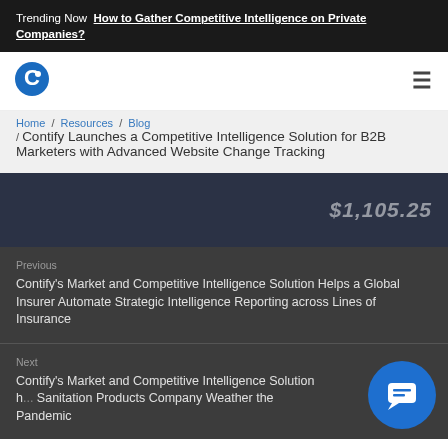Trending Now  How to Gather Competitive Intelligence on Private Companies?
[Figure (logo): Contify logo - circular blue C icon]
Home / Resources / Blog / Contify Launches a Competitive Intelligence Solution for B2B Marketers with Advanced Website Change Tracking
[Figure (photo): Dark background image with financial number $1,105.25 overlaid]
Previous
Contify's Market and Competitive Intelligence Solution Helps a Global Insurer Automate Strategic Intelligence Reporting across Lines of Insurance
Next
Contify's Market and Competitive Intelligence Solution h... Sanitation Products Company Weather the Pandemic